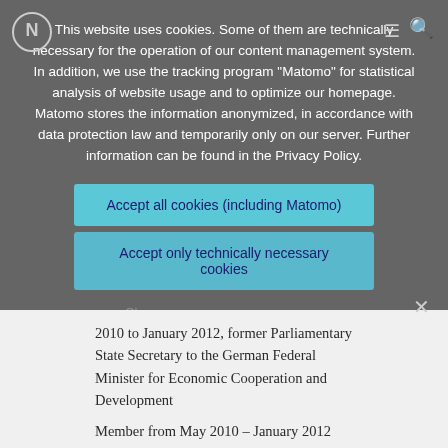This website uses cookies. Some of them are technically necessary for the operation of our content management system. In addition, we use the tracking program "Matomo" for statistical analysis of website usage and to optimize our homepage. Matomo stores the information anonymized, in accordance with data protection law and temporarily only on our server. Further information can be found in the Privacy Policy.
Accept all cookies (including Matomo)
Accept only technically necessary cookies
Hans-Peter Repnik
2010 to January 2012, former Parliamentary State Secretary to the German Federal Minister for Economic Cooperation and Development
Member from May 2010 – January 2012